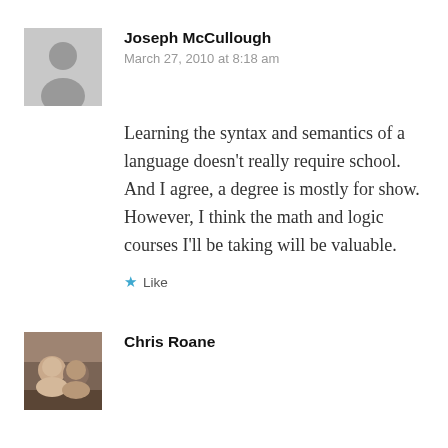Joseph McCullough
March 27, 2010 at 8:18 am
Learning the syntax and semantics of a language doesn’t really require school. And I agree, a degree is mostly for show. However, I think the math and logic courses I’ll be taking will be valuable.
★ Like
Chris Roane